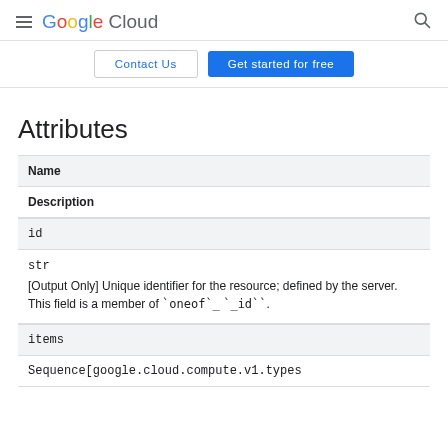Google Cloud
[Figure (screenshot): Navigation bar with Contact Us and Get started for free buttons]
Attributes
| Name | Description |
| --- | --- |
| id | str
[Output Only] Unique identifier for the resource; defined by the server. This field is a member of `oneof`_ `_id``. |
| items | Sequence[google.cloud.compute.v1.types |